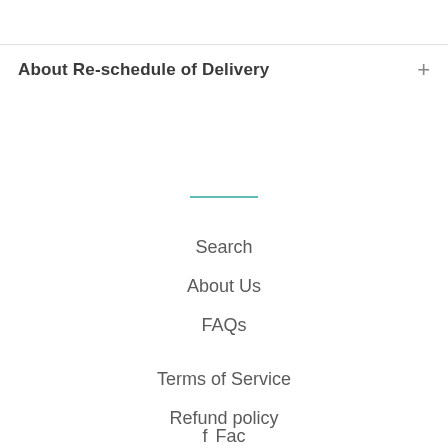About Re-schedule of Delivery
Search
About Us
FAQs
Terms of Service
Refund policy
Contact Us
Facebook